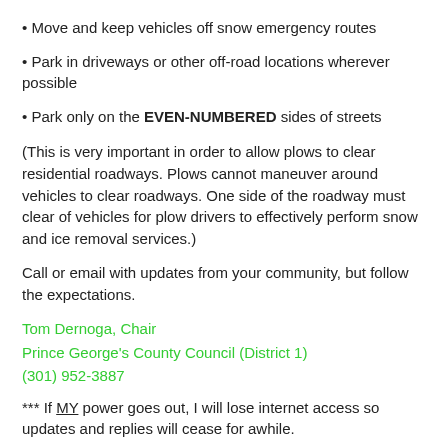• Move and keep vehicles off snow emergency routes
• Park in driveways or other off-road locations wherever possible
• Park only on the EVEN-NUMBERED sides of streets
(This is very important in order to allow plows to clear residential roadways. Plows cannot maneuver around vehicles to clear roadways. One side of the roadway must clear of vehicles for plow drivers to effectively perform snow and ice removal services.)
Call or email with updates from your community, but follow the expectations.
Tom Dernoga, Chair
Prince George's County Council (District 1)
(301) 952-3887
*** If MY power goes out, I will lose internet access so updates and replies will cease for awhile.